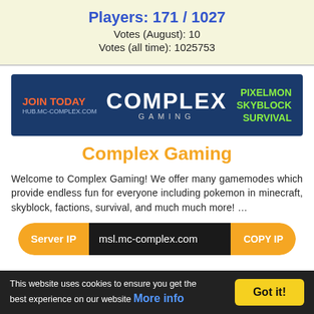Players: 171 / 1027
Votes (August): 10
Votes (all time): 1025753
[Figure (illustration): Complex Gaming banner: dark blue background with 'JOIN TODAY HUB.MC-COMPLEX.COM' on the left in orange, 'COMPLEX GAMING' in white/gray large text in the center, and 'PIXELMON SKYBLOCK SURVIVAL' in green on the right.]
Complex Gaming
Welcome to Complex Gaming! We offer many gamemodes which provide endless fun for everyone including pokemon in minecraft, skyblock, factions, survival, and much much more! …
Server IP  msl.mc-complex.com  COPY IP
Players: 1406 / 1407
Votes (August): 127664
Votes (all time): 2900117
This website uses cookies to ensure you get the best experience on our website More info  Got it!